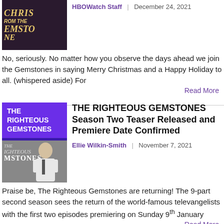[Figure (photo): Christmas from the Gemstones promo image with golden stylized text on dark background]
HBOWatch Staff | December 24, 2021
No, seriously. No matter how you observe the days ahead we join the Gemstones in saying Merry Christmas and a Happy Holiday to all. (whispered aside) For
Read More
[Figure (photo): The Righteous Gemstones show poster with purple banner text and cast image below]
THE RIGHTEOUS GEMSTONES Season Two Teaser Released and Premiere Date Confirmed
Ellie Wilkin-Smith | November 7, 2021
Praise be, The Righteous Gemstones are returning! The 9-part second season sees the return of the world-famous televangelists with the first two episodes premiering on Sunday 9th January
Read More